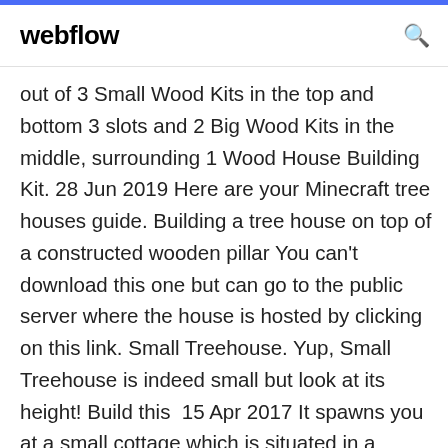webflow
out of 3 Small Wood Kits in the top and bottom 3 slots and 2 Big Wood Kits in the middle, surrounding 1 Wood House Building Kit. 28 Jun 2019 Here are your Minecraft tree houses guide. Building a tree house on top of a constructed wooden pillar You can't download this one but can go to the public server where the house is hosted by clicking on this link. Small Treehouse. Yup, Small Treehouse is indeed small but look at its height! Build this 15 Apr 2017 It spawns you at a small cottage which is situated in a plains biome. house which means you'll never run out of resources such as wood. user http://mcpedl.com/how-to-install-